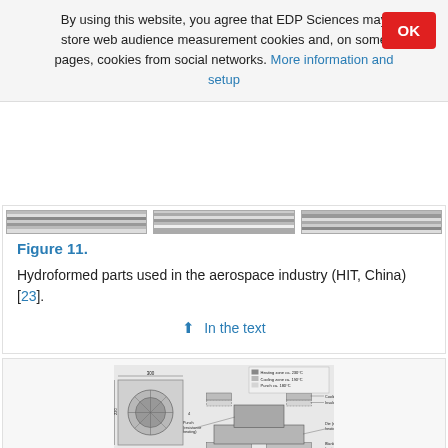By using this website, you agree that EDP Sciences may store web audience measurement cookies and, on some pages, cookies from social networks. More information and setup
[Figure (photo): Strip of hydroformed aerospace parts shown as three horizontal grey-scale image bands side by side]
Figure 11. Hydroformed parts used in the aerospace industry (HIT, China) [23].
↑ In the text
[Figure (engineering-diagram): Engineering cross-section diagram of a hydroforming die with labeled components: Heating zone ca. 230°C, Cooling zone ca. 190°C, Punch ca. 180°C, Cooling plate, Insulating plate, Die (resistance heating), Blankholder (resistance heating), Insulating plate, Cooling plate. Dimensions labeled including 300, 110, 220, 4 units.]